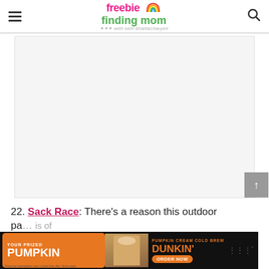freebie finding mom with kelli bhattacharyee
[Figure (other): Advertisement placeholder box (gray/white rectangle)]
22. Sack Race: There's a reason this outdoor pa... f...
[Figure (other): Dunkin' advertisement banner: YOUR PRIZED PUMPKIN - PUMPKIN CREAM COLD BREW - DUNKIN' - ORDER NOW]